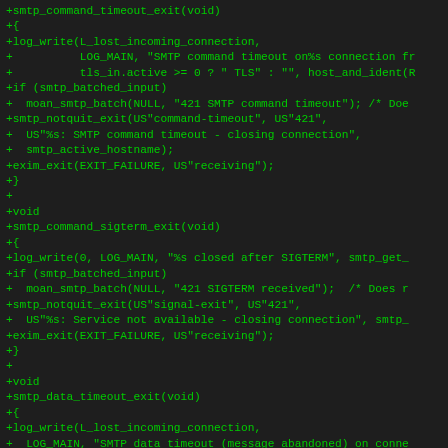[Figure (screenshot): Code diff screenshot showing C source code additions (lines prefixed with +) in green monospace font on dark background. Functions smtp_command_timeout_exit, smtp_command_sigterm_exit, and smtp_data_timeout_exit are shown.]